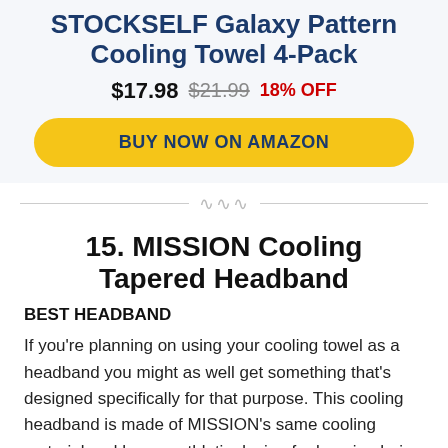STOCKSELF Galaxy Pattern Cooling Towel 4-Pack
$17.98  $21.99  18% OFF
BUY NOW ON AMAZON
15. MISSION Cooling Tapered Headband
BEST HEADBAND
If you're planning on using your cooling towel as a headband you might as well get something that's designed specifically for that purpose. This cooling headband is made of MISSION's same cooling material and has an athletic design for keeping hair